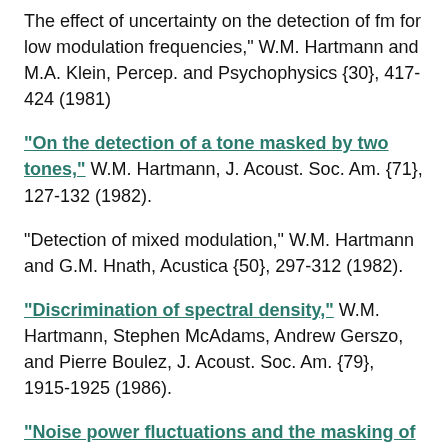The effect of uncertainty on the detection of fm for low modulation frequencies," W.M. Hartmann and M.A. Klein, Percep. and Psychophysics {30}, 417-424 (1981)
"On the detection of a tone masked by two tones," W.M. Hartmann, J. Acoust. Soc. Am. {71}, 127-132 (1982).
"Detection of mixed modulation," W.M. Hartmann and G.M. Hnath, Acustica {50}, 297-312 (1982).
"Discrimination of spectral density," W.M. Hartmann, Stephen McAdams, Andrew Gerszo, and Pierre Boulez, J. Acoust. Soc. Am. {79}, 1915-1925 (1986).
"Noise power fluctuations and the masking of